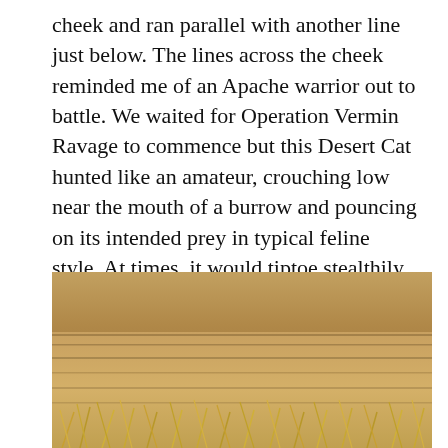cheek and ran parallel with another line just below. The lines across the cheek reminded me of an Apache warrior out to battle. We waited for Operation Vermin Ravage to commence but this Desert Cat hunted like an amateur, crouching low near the mouth of a burrow and pouncing on its intended prey in typical feline style. At times, it would tiptoe stealthily towards the mouth of the next burrow. It didn't seem serious about its meal, for it gave up within minutes. Its patchy hunting skills evinced that this was no Apache we were looking at.
[Figure (photo): Close-up ground-level photograph of dry grassland/savanna terrain with sandy soil and dry golden-brown grass stalks visible in the foreground.]